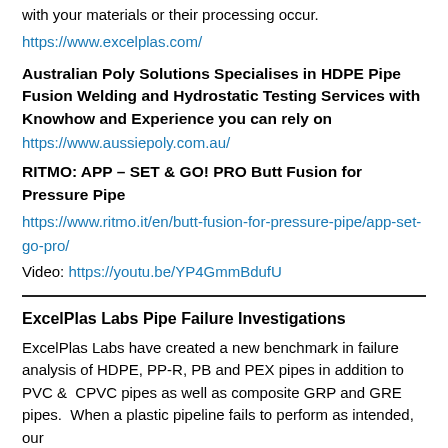with your materials or their processing occur.
https://www.excelplas.com/
Australian Poly Solutions Specialises in HDPE Pipe Fusion Welding and Hydrostatic Testing Services with Knowhow and Experience you can rely on
https://www.aussiepoly.com.au/
RITMO: APP – SET & GO! PRO Butt Fusion for Pressure Pipe
https://www.ritmo.it/en/butt-fusion-for-pressure-pipe/app-set-go-pro/
Video: https://youtu.be/YP4GmmBdufU
ExcelPlas Labs Pipe Failure Investigations
ExcelPlas Labs have created a new benchmark in failure analysis of HDPE, PP-R, PB and PEX pipes in addition to PVC &  CPVC pipes as well as composite GRP and GRE pipes.  When a plastic pipeline fails to perform as intended, our